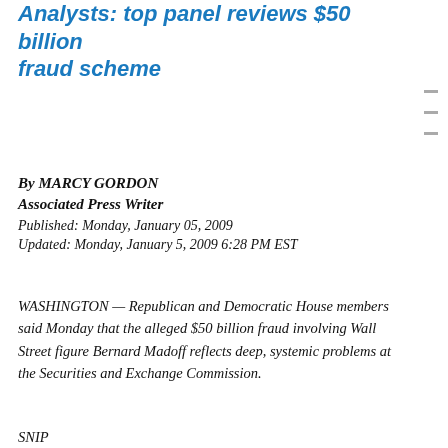Analysts: top panel reviews $50 billion fraud scheme
By MARCY GORDON
Associated Press Writer
Published: Monday, January 05, 2009
Updated: Monday, January 5, 2009 6:28 PM EST
WASHINGTON — Republican and Democratic House members said Monday that the alleged $50 billion fraud involving Wall Street figure Bernard Madoff reflects deep, systemic problems at the Securities and Exchange Commission.
SNIP